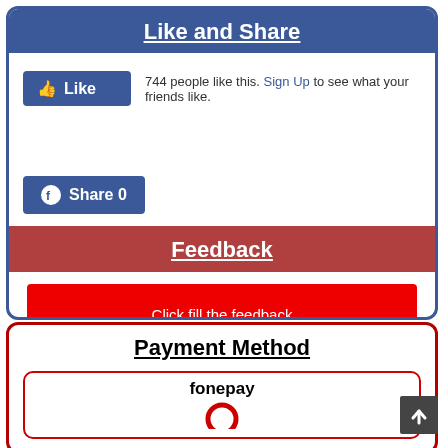Like and Share
744 people like this. Sign Up to see what your friends like.
Share 0
Feedback
Click fill the feedback
Payment Method
fonepay